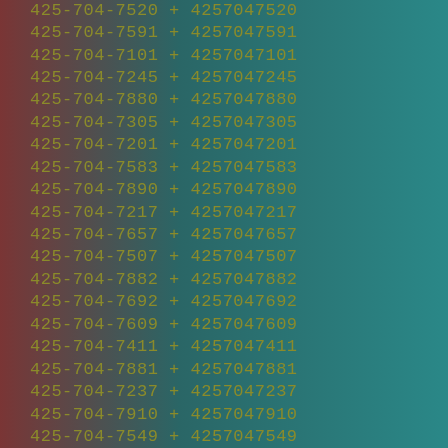425-704-7435 + 4257047435
425-704-7520 + 4257047520
425-704-7591 + 4257047591
425-704-7101 + 4257047101
425-704-7245 + 4257047245
425-704-7880 + 4257047880
425-704-7305 + 4257047305
425-704-7201 + 4257047201
425-704-7583 + 4257047583
425-704-7890 + 4257047890
425-704-7217 + 4257047217
425-704-7657 + 4257047657
425-704-7507 + 4257047507
425-704-7882 + 4257047882
425-704-7692 + 4257047692
425-704-7609 + 4257047609
425-704-7411 + 4257047411
425-704-7881 + 4257047881
425-704-7237 + 4257047237
425-704-7910 + 4257047910
425-704-7549 + 4257047549
425-704-7424 + 4257047424